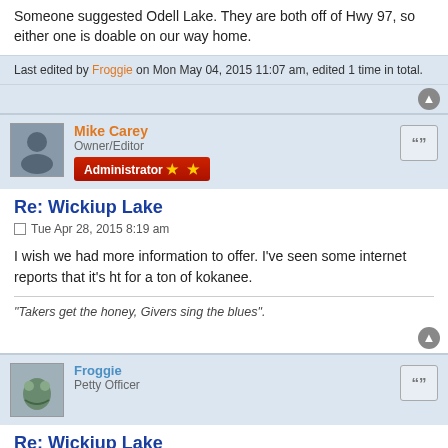Someone suggested Odell Lake. They are both off of Hwy 97, so either one is doable on our way home.
Last edited by Froggie on Mon May 04, 2015 11:07 am, edited 1 time in total.
Mike Carey
Owner/Editor
Administrator
Re: Wickiup Lake
Tue Apr 28, 2015 8:19 am
I wish we had more information to offer. I've seen some internet reports that it's ht for a ton of kokanee.
"Takers get the honey, Givers sing the blues".
Froggie
Petty Officer
Re: Wickiup Lake